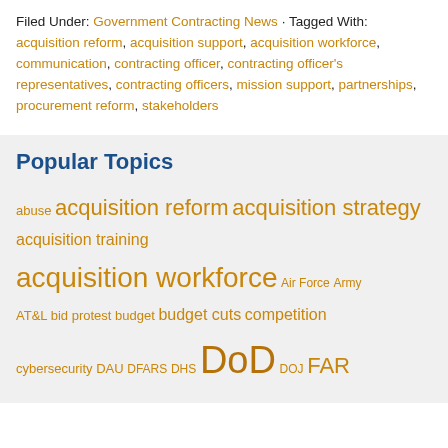Filed Under: Government Contracting News · Tagged With: acquisition reform, acquisition support, acquisition workforce, communication, contracting officer, contracting officer's representatives, contracting officers, mission support, partnerships, procurement reform, stakeholders
Popular Topics
abuse acquisition reform acquisition strategy acquisition training acquisition workforce Air Force Army AT&L bid protest budget budget cuts competition cybersecurity DAU DFARS DHS DoD DOJ FAR